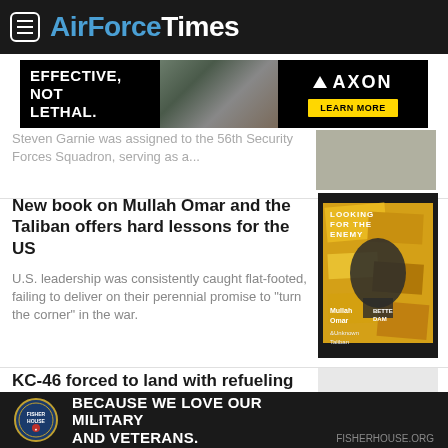AirForceTimes
[Figure (other): AXON advertisement banner: EFFECTIVE, NOT LETHAL. with soldier image and LEARN MORE button]
Steven Garnie was assigned to the 56th Security Forces Squadron, serving as a...
New book on Mullah Omar and the Taliban offers hard lessons for the US
U.S. leadership was consistently caught flat-footed, failing to deliver on their perennial promise to "turn the corner" in the war.
[Figure (photo): Book cover: Looking for the Enemy - Mullah Omar and the Unknown Taliban]
KC-46 forced to land with refueling boom out, stranding Hill staffers
[Figure (other): Fisher House Foundation advertisement: BECAUSE WE LOVE OUR MILITARY AND VETERANS. FISHERHOUSE.ORG]